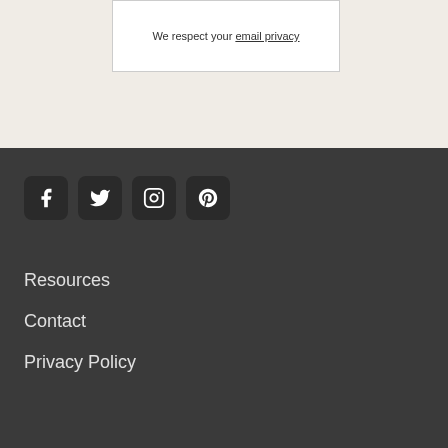We respect your email privacy
[Figure (other): Social media icons: Facebook, Twitter, Instagram, Pinterest]
Resources
Contact
Privacy Policy